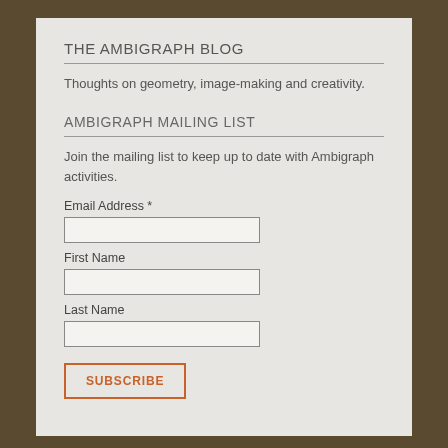THE AMBIGRAPH BLOG
Thoughts on geometry, image-making and creativity.
AMBIGRAPH MAILING LIST
Join the mailing list to keep up to date with Ambigraph activities.
Email Address *
First Name
Last Name
SUBSCRIBE